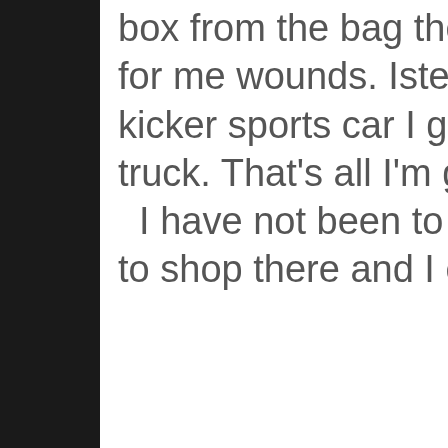box from the bag the bitch from the store had salt for me wounds. Istead of a shiny ass kicking ass kicker sports car I got a remote controled pickup truck. That's all I'm going to say about that.  I have not been to a RadioShack since. I refuse to shop there and I even tell